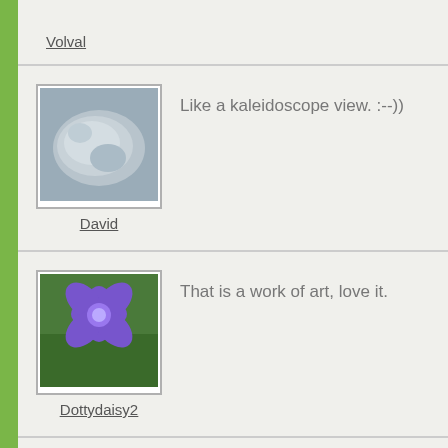Volval
[Figure (photo): Avatar photo of a stone/rock, used as user profile picture for David]
David
Like a kaleidoscope view. :-))
[Figure (photo): Avatar photo of a purple flower, used as user profile picture for Dottydaisy2]
Dottydaisy2
That is a work of art, love it.
[Figure (photo): Avatar photo of a cat, used as user profile picture for an unknown user]
That's so perfect, it hardly looks real. I lo